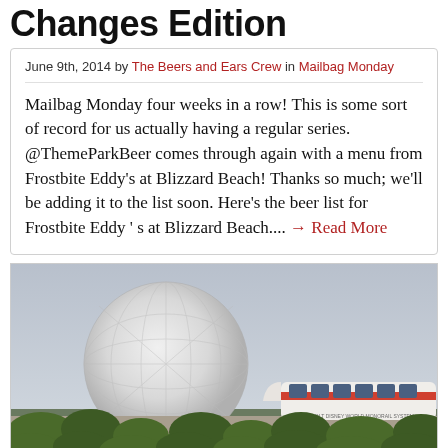Changes Edition
June 9th, 2014 by The Beers and Ears Crew in Mailbag Monday
Mailbag Monday four weeks in a row! This is some sort of record for us actually having a regular series. @ThemeParkBeer comes through again with a menu from Frostbite Eddy's at Blizzard Beach! Thanks so much; we'll be adding it to the list soon. Here's the beer list for Frostbite Eddy ' s at Blizzard Beach.... → Read More
[Figure (photo): Photo of Spaceship Earth (EPCOT geodesic sphere) with a Disney World Monorail passing in front on its elevated beam, green trees in foreground, overcast sky]